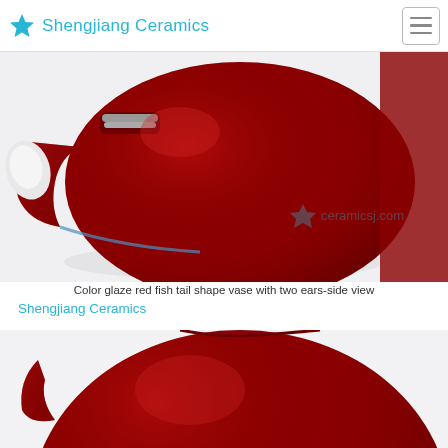Shengjiang Ceramics
[Figure (photo): Close-up side view of a deep red/burgundy color glaze ceramic vase with fish tail shape and two ear handles. The vase is photographed against a white background. A watermark 'ceramicsj.com' with a star logo is visible in the lower right of the image.]
Color glaze red fish tail shape vase with two ears-side view
Shengjiang Ceramics
[Figure (photo): Partial view of the same deep red/burgundy ceramic vase from a different angle, showing the rounded body and ear handle detail. The bottom portion of the image is cropped.]